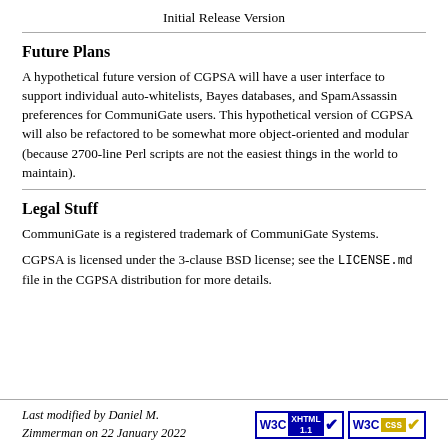Initial Release Version
Future Plans
A hypothetical future version of CGPSA will have a user interface to support individual auto-whitelists, Bayes databases, and SpamAssassin preferences for CommuniGate users. This hypothetical version of CGPSA will also be refactored to be somewhat more object-oriented and modular (because 2700-line Perl scripts are not the easiest things in the world to maintain).
Legal Stuff
CommuniGate is a registered trademark of CommuniGate Systems.
CGPSA is licensed under the 3-clause BSD license; see the LICENSE.md file in the CGPSA distribution for more details.
Last modified by Daniel M. Zimmerman on 22 January 2022